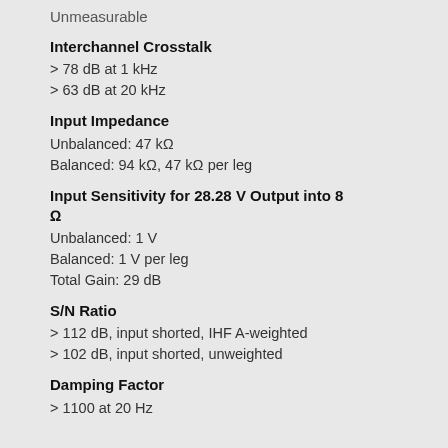Unmeasurable
Interchannel Crosstalk
> 78 dB at 1 kHz
> 63 dB at 20 kHz
Input Impedance
Unbalanced: 47 kΩ
Balanced: 94 kΩ, 47 kΩ per leg
Input Sensitivity for 28.28 V Output into 8 Ω
Unbalanced: 1 V
Balanced: 1 V per leg
Total Gain: 29 dB
S/N Ratio
> 112 dB, input shorted, IHF A-weighted
> 102 dB, input shorted, unweighted
Damping Factor
> 1100 at 20 Hz